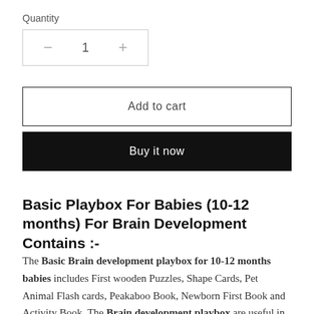Quantity
− 1 +
Add to cart
Buy it now
Basic Playbox For Babies (10-12 months) For Brain Development Contains :-
The Basic Brain development playbox for 10-12 months babies includes First wooden Puzzles, Shape Cards, Pet Animal Flash cards, Peakaboo Book, Newborn First Book and Activity Book. The Brain development playbox are useful in